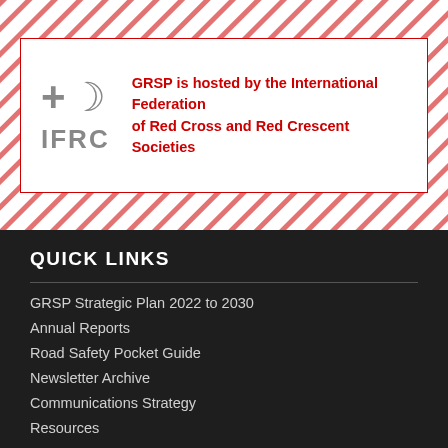[Figure (logo): IFRC logo with red cross and crescent symbols in grey, with IFRC text below. Beside the logo is the text: GRSP is hosted by the International Federation of Red Cross and Red Crescent Societies in red, all inside a red-bordered white box on a diagonal red-and-white stripe background.]
QUICK LINKS
GRSP Strategic Plan 2022 to 2030
Annual Reports
Road Safety Pocket Guide
Newsletter Archive
Communications Strategy
Resources